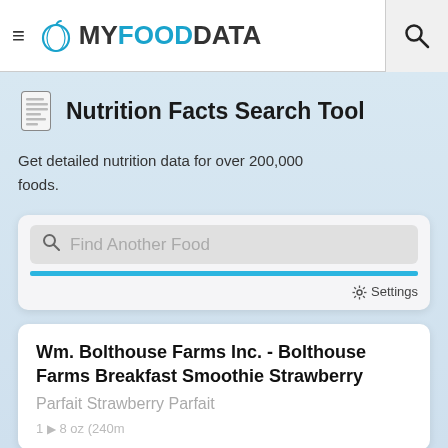≡ MYFOODDATA [search icon]
Nutrition Facts Search Tool
Get detailed nutrition data for over 200,000 foods.
[Figure (screenshot): Search input box with placeholder text 'Find Another Food', a blue progress bar below it, and a Settings gear icon]
Wm. Bolthouse Farms Inc. - Bolthouse Farms Breakfast Smoothie Strawberry
Parfait Strawberry Parfait